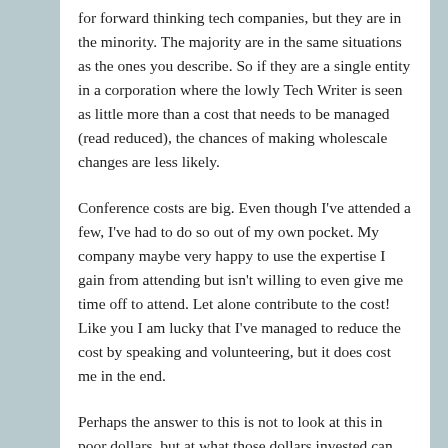for forward thinking tech companies, but they are in the minority. The majority are in the same situations as the ones you describe. So if they are a single entity in a corporation where the lowly Tech Writer is seen as little more than a cost that needs to be managed (read reduced), the chances of making wholescale changes are less likely.
Conference costs are big. Even though I've attended a few, I've had to do so out of my own pocket. My company maybe very happy to use the expertise I gain from attending but isn't willing to even give me time off to attend. Let alone contribute to the cost! Like you I am lucky that I've managed to reduce the cost by speaking and volunteering, but it does cost me in the end.
Perhaps the answer to this is not to look at this in poor dollars, but at what those dollars invested can bring to the table. I say this because if we manage to do this, it would be easier to go to an employer and convince them to pay for us to go. This is easier said than done, especially as it requires us to do some